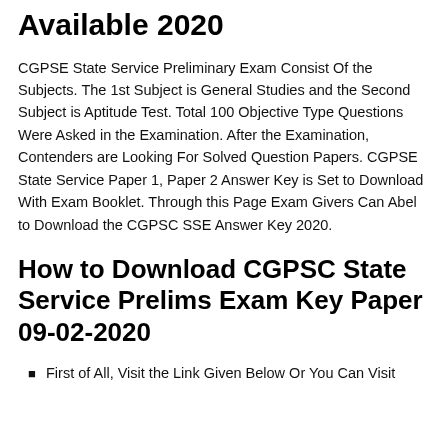Available 2020
CGPSE State Service Preliminary Exam Consist Of the Subjects. The 1st Subject is General Studies and the Second Subject is Aptitude Test. Total 100 Objective Type Questions Were Asked in the Examination. After the Examination, Contenders are Looking For Solved Question Papers. CGPSE State Service Paper 1, Paper 2 Answer Key is Set to Download With Exam Booklet. Through this Page Exam Givers Can Abel to Download the CGPSC SSE Answer Key 2020.
How to Download CGPSC State Service Prelims Exam Key Paper 09-02-2020
First of All, Visit the Link Given Below Or You Can Visit